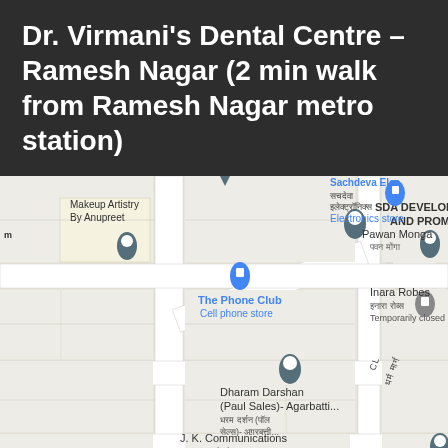Dr. Virmani's Dental Centre – Ramesh Nagar (2 min walk from Ramesh Nagar metro station)
[Figure (map): Google Maps screenshot showing the area around Ramesh Nagar. Visible places include Makeup Artistry By Anupreet, The Phone Club (Cell phone store), SDA DEVELOPERS AND PROMOTERS, Sachdeva Electronics store, Pawan Monga, Inara Robes (Temporarily closed), Dharam Darshan (Paul Sales)- Agarbatti... (with Hindi text), J. K. Communications (with Hindi text), and Tarz Studio.]